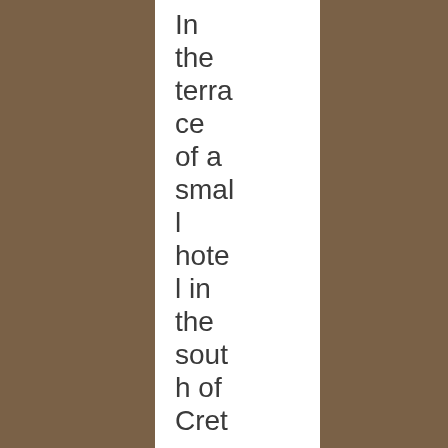In the terrace of a small hotel in the south of Crete. The beach has the